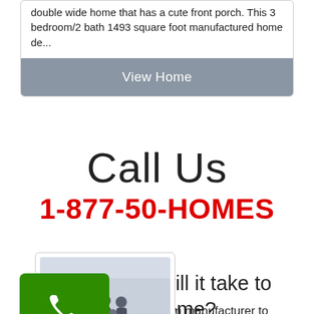double wide home that has a cute front porch. This 3 bedroom/2 bath 1493 square foot manufactured home de...
View Home
Call Us
1-877-50-HOMES
[Figure (photo): Family photo in front of a house, parents with young child]
[Figure (illustration): Green phone/call button with phone icon and 'Us' label]
ong will it take to my home?
widely from manufacturer to